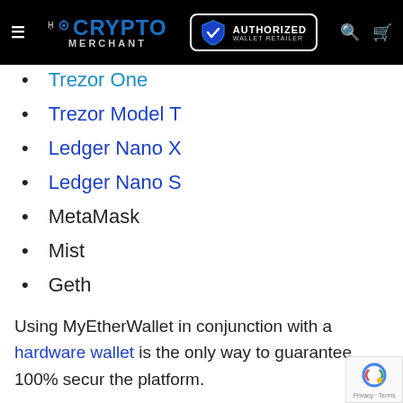The Crypto Merchant — Authorized Wallet Retailer
Trezor One
Trezor Model T
Ledger Nano X
Ledger Nano S
MetaMask
Mist
Geth
Using MyEtherWallet in conjunction with a hardware wallet is the only way to guarantee 100% secur[ity on] the platform.